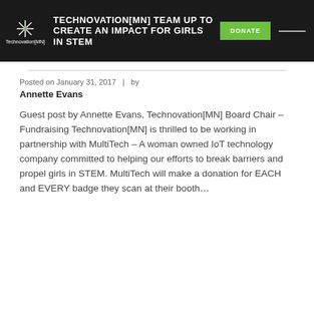TECHNOVATION[MN] TEAM UP TO CREATE AN IMPACT FOR GIRLS IN STEM
Posted on January 31, 2017  |  by Annette Evans
Guest post by Annette Evans, Technovation[MN] Board Chair – Fundraising Technovation[MN] is thrilled to be working in partnership with MultiTech – A woman owned IoT technology company committed to helping our efforts to break barriers and propel girls in STEM. MultiTech will make a donation for EACH and EVERY badge they scan at their booth…